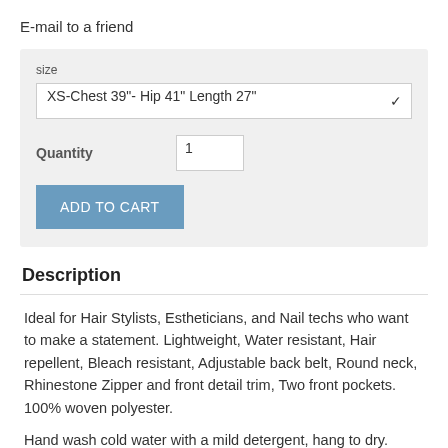E-mail to a friend
size
XS-Chest 39"- Hip 41" Length 27"
Quantity
1
ADD TO CART
Description
Ideal for Hair Stylists, Estheticians, and Nail techs who want to make a statement. Lightweight, Water resistant, Hair repellent, Bleach resistant, Adjustable back belt, Round neck, Rhinestone Zipper and front detail trim, Two front pockets. 100% woven polyester.
Hand wash cold water with a mild detergent, hang to dry.
Measurements are true to size but if you require more room for movement or if wearing over another garment,